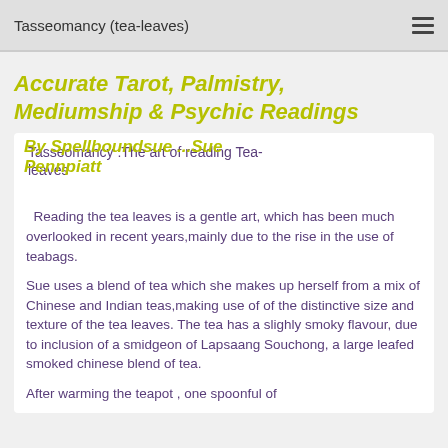Tasseomancy (tea-leaves)
Accurate Tarot, Palmistry, Mediumship & Psychic Readings
By Spellboundsue ...Sue Pennpiatt
Tasseomancy :The art of reading Tea-leaves
Reading the tea leaves is a gentle art, which has been much overlooked in recent years,mainly due to the rise in the use of teabags.
Sue uses a blend of tea which she makes up herself from a mix of Chinese and Indian teas,making use of of the distinctive size and texture of the tea leaves. The tea has a slighly smoky flavour, due to inclusion of a smidgeon of Lapsaang Souchong, a large leafed smoked chinese blend of tea.
After warming the teapot , one spoonful of